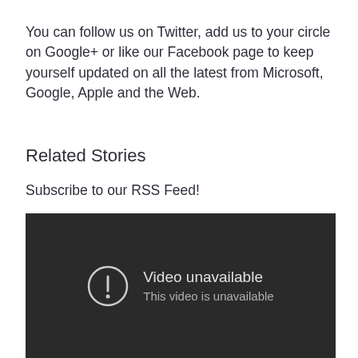You can follow us on Twitter, add us to your circle on Google+ or like our Facebook page to keep yourself updated on all the latest from Microsoft, Google, Apple and the Web.
Related Stories
Subscribe to our RSS Feed!
[Figure (screenshot): Dark video player showing 'Video unavailable' error with exclamation mark icon and text 'This video is unavailable']